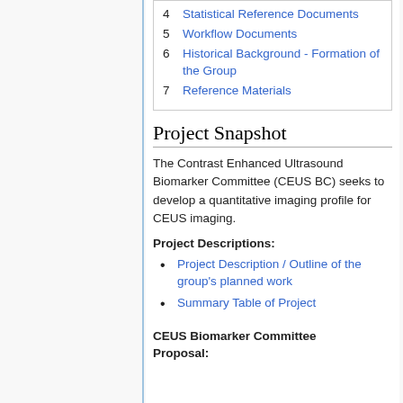4 Statistical Reference Documents
5 Workflow Documents
6 Historical Background - Formation of the Group
7 Reference Materials
Project Snapshot
The Contrast Enhanced Ultrasound Biomarker Committee (CEUS BC) seeks to develop a quantitative imaging profile for CEUS imaging.
Project Descriptions:
Project Description / Outline of the group's planned work
Summary Table of Project
CEUS Biomarker Committee Proposal: